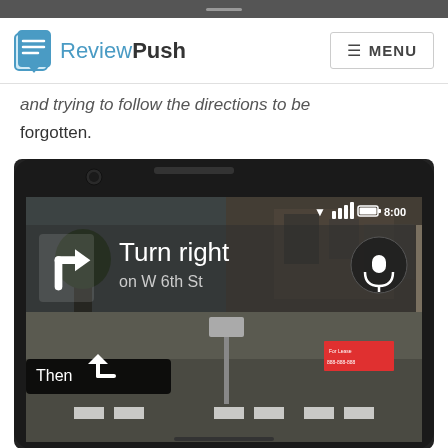ReviewPush — MENU
and trying to follow the directions to be forgotten.
[Figure (screenshot): A smartphone screen showing Google Maps navigation in augmented reality mode. The display reads 'Turn right on W 6th St' with a right-turn arrow, a microphone button, and a 'Then' with left-turn arrow instruction. The time reads 8:00 with full signal and battery indicators. The camera view shows a street scene with buildings and trees.]